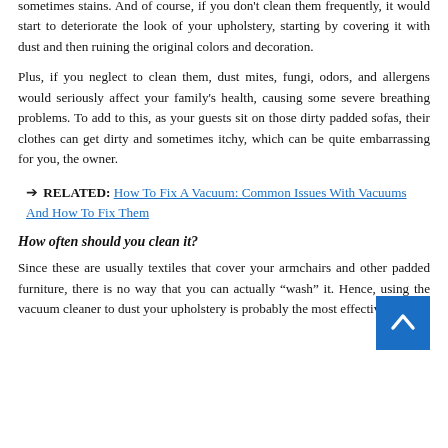sometimes stains. And of course, if you don't clean them frequently, it would start to deteriorate the look of your upholstery, starting by covering it with dust and then ruining the original colors and decoration.
Plus, if you neglect to clean them, dust mites, fungi, odors, and allergens would seriously affect your family's health, causing some severe breathing problems. To add to this, as your guests sit on those dirty padded sofas, their clothes can get dirty and sometimes itchy, which can be quite embarrassing for you, the owner.
➔ RELATED: How To Fix A Vacuum: Common Issues With Vacuums And How To Fix Them
How often should you clean it?
Since these are usually textiles that cover your armchairs and other padded furniture, there is no way that you can actually “wash” it. Hence, using the vacuum cleaner to dust your upholstery is probably the most effective way to